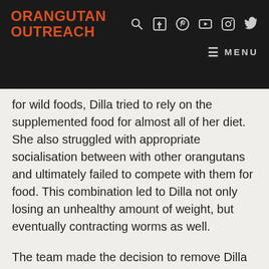ORANGUTAN OUTREACH
for wild foods, Dilla tried to rely on the supplemented food for almost all of her diet. She also struggled with appropriate socialisation between with other orangutans and ultimately failed to compete with them for food. This combination led to Dilla not only losing an unhealthy amount of weight, but eventually contracting worms as well.
The team made the decision to remove Dilla from the island for treatment and to give her island spot to another orangutan and with greater potential for being released. After a long period of assessment and deliberation, it was decided that Dilla was more suited for life on a sanctuary island where the competition with other...